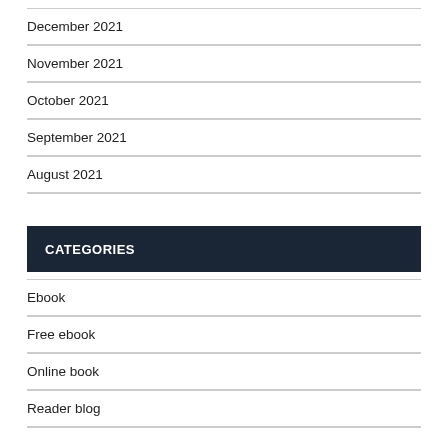December 2021
November 2021
October 2021
September 2021
August 2021
CATEGORIES
Ebook
Free ebook
Online book
Reader blog